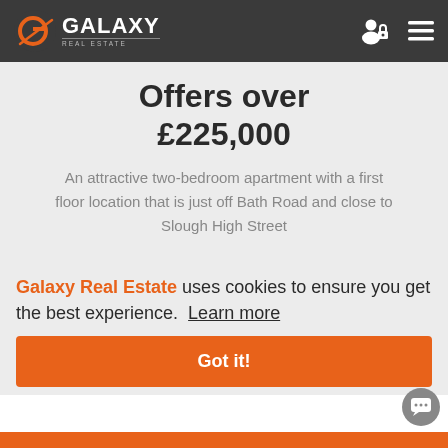Galaxy Real Estate — header navigation
Offers over £225,000
An attractive two-bedroom apartment with a first floor location that is just off Bath Road and close to Slough High Street
Galaxy Real Estate uses cookies to ensure you get the best experience. Learn more
Got it!